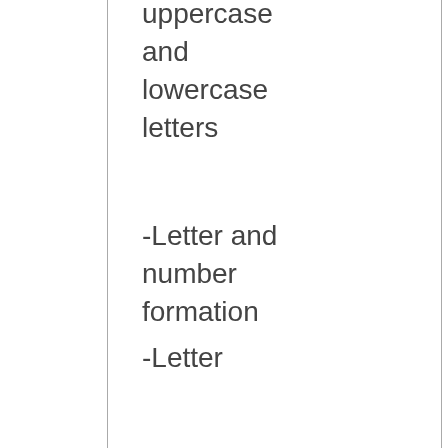uppercase and lowercase letters
-Letter and number formation
-Letter matching
-Match uppercase to lowercase letters
-Beginning